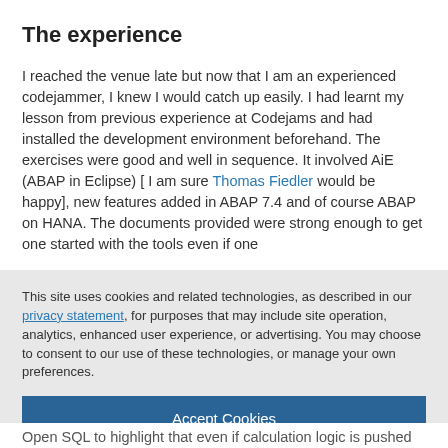The experience
I reached the venue late but now that I am an experienced codejammer, I knew I would catch up easily. I had learnt my lesson from previous experience at Codejams and had installed the development environment beforehand. The exercises were good and well in sequence. It involved AiE (ABAP in Eclipse) [ I am sure Thomas Fiedler would be happy], new features added in ABAP 7.4 and of course ABAP on HANA. The documents provided were strong enough to get one started with the tools even if one
This site uses cookies and related technologies, as described in our privacy statement, for purposes that may include site operation, analytics, enhanced user experience, or advertising. You may choose to consent to our use of these technologies, or manage your own preferences.
Accept Cookies
More Information
Privacy Policy | Powered by: TrustArc
Open SQL to highlight that even if calculation logic is pushed